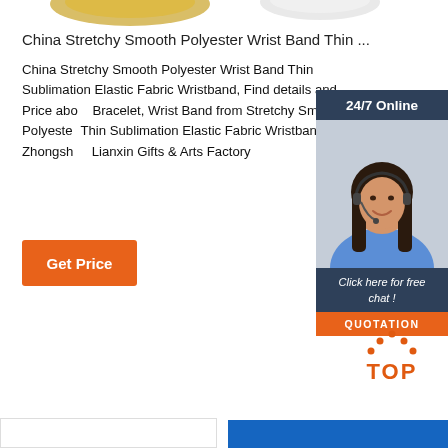[Figure (photo): Partial view of wristband products at the top of the page]
China Stretchy Smooth Polyester Wrist Band Thin ...
China Stretchy Smooth Polyester Wrist Band Thin Sublimation Elastic Fabric Wristband, Find details and Price about Bracelet, Wrist Band from Stretchy Smooth Polyester Thin Sublimation Elastic Fabric Wristband - Zhongshan Lianxin Gifts & Arts Factory
[Figure (screenshot): 24/7 Online chat widget with woman wearing headset, 'Click here for free chat!' text and QUOTATION button]
Get Price
[Figure (other): TOP button with orange dots above the letters]
[Figure (screenshot): Bottom strip showing two boxes at the bottom of the page]